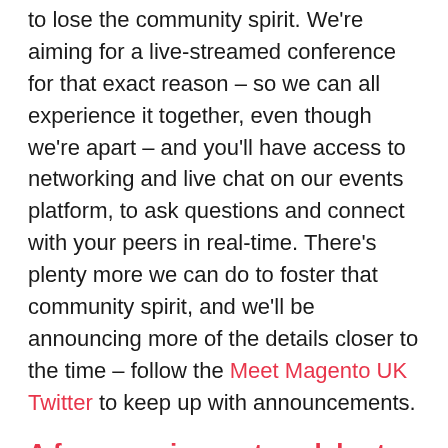to lose the community spirit. We're aiming for a live-streamed conference for that exact reason – so we can all experience it together, even though we're apart – and you'll have access to networking and live chat on our events platform, to ask questions and connect with your peers in real-time. There's plenty more we can do to foster that community spirit, and we'll be announcing more of the details closer to the time – follow the Meet Magento UK Twitter to keep up with announcements.
A few surprises… to celebrate 10 years of Meet Magento!
This year sees the 10th year anniversary of Meet Magento, and we'll be celebrating in style with